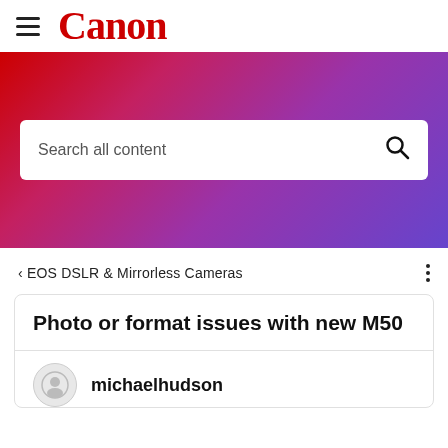[Figure (logo): Canon logo with hamburger menu icon on white navigation bar]
[Figure (screenshot): Red to purple gradient hero section with a white search box reading 'Search all content' and a search icon]
< EOS DSLR & Mirrorless Cameras
Photo or format issues with new M50
michaelhudson